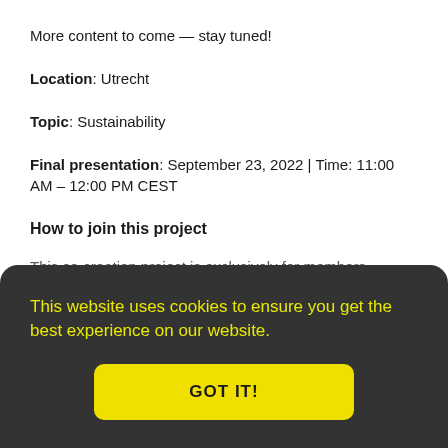More content to come — stay tuned!
Location: Utrecht
Topic: Sustainability
Final presentation: September 23, 2022 | Time: 11:00 AM – 12:00 PM CEST
How to join this project
This co-creation project is exclusively for members
This website uses cookies to ensure you get the best experience on our website.
GOT IT!